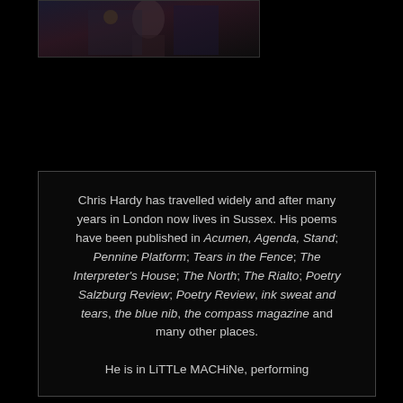[Figure (photo): Partial photo of a person on a dark background, appearing to be at a performance or event, visible in the top portion of the page]
Chris Hardy has travelled widely and after many years in London now lives in Sussex. His poems have been published in Acumen, Agenda, Stand; Pennine Platform; Tears in the Fence; The Interpreter's House; The North; The Rialto; Poetry Salzburg Review; Poetry Review, ink sweat and tears, the blue nib, the compass magazine and many other places. He is in LiTTLe MACHiNe, performing